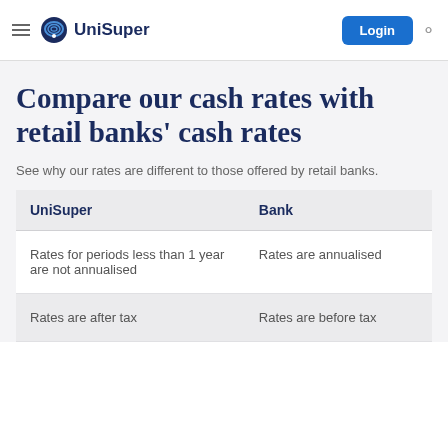UniSuper
Compare our cash rates with retail banks' cash rates
See why our rates are different to those offered by retail banks.
| UniSuper | Bank |
| --- | --- |
| Rates for periods less than 1 year are not annualised | Rates are annualised |
| Rates are after tax | Rates are before tax |